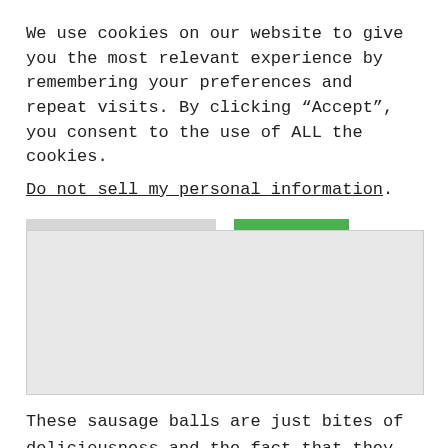We use cookies on our website to give you the most relevant experience by remembering your preferences and repeat visits. By clicking “Accept”, you consent to the use of ALL the cookies.
Do not sell my personal information.
Cookie Settings
Accept
[Figure (photo): Gray placeholder image block for a food photo]
These sausage balls are just bites of deliciousness and the fact that they are made in the air fryer makes them even better. The cheesy sausage balls